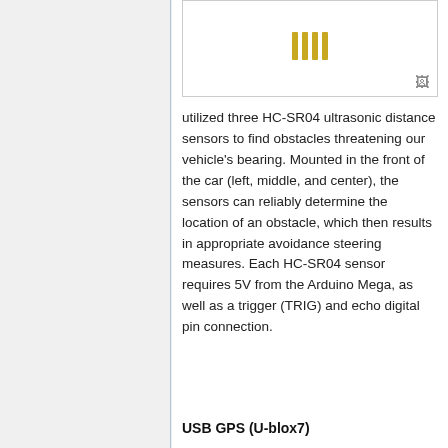[Figure (photo): HC-SR04 ultrasonic sensor component image showing gold pins on top, with a small image/document icon in the bottom right corner]
utilized three HC-SR04 ultrasonic distance sensors to find obstacles threatening our vehicle's bearing. Mounted in the front of the car (left, middle, and center), the sensors can reliably determine the location of an obstacle, which then results in appropriate avoidance steering measures. Each HC-SR04 sensor requires 5V from the Arduino Mega, as well as a trigger (TRIG) and echo digital pin connection.
USB GPS (U-blox7)